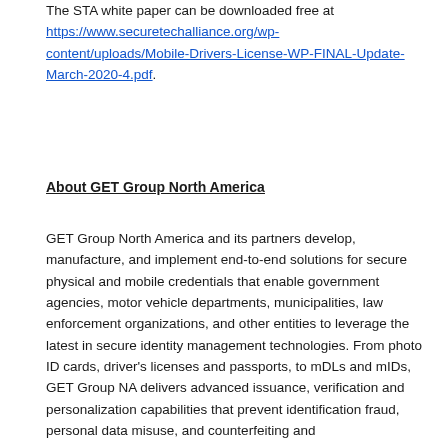The STA white paper can be downloaded free at https://www.securetechalliance.org/wp-content/uploads/Mobile-Drivers-License-WP-FINAL-Update-March-2020-4.pdf.
About GET Group North America
GET Group North America and its partners develop, manufacture, and implement end-to-end solutions for secure physical and mobile credentials that enable government agencies, motor vehicle departments, municipalities, law enforcement organizations, and other entities to leverage the latest in secure identity management technologies. From photo ID cards, driver's licenses and passports, to mDLs and mIDs, GET Group NA delivers advanced issuance, verification and personalization capabilities that prevent identification fraud, personal data misuse, and counterfeiting and